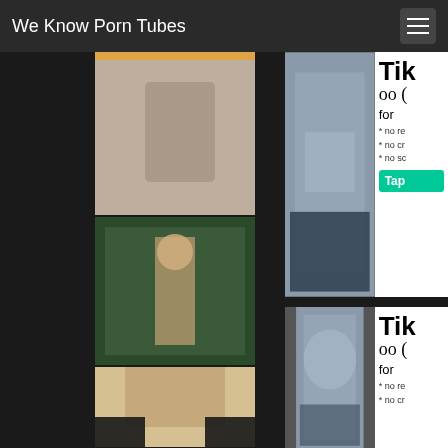We Know Porn Tubes
[Figure (photo): Adult content website screenshot showing header navigation and photo thumbnails in a dark-themed layout]
[Figure (photo): Adult content advertisement banner]
[Figure (photo): Adult content advertisement banner repeated]